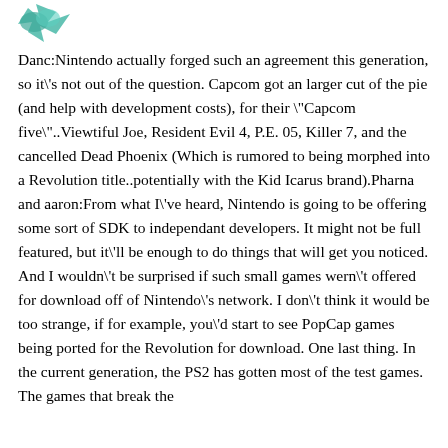[Figure (logo): Small teal/green icon in the top-left corner, resembling a stylized bird or logo mark]
Danc:Nintendo actually forged such an agreement this generation, so it\'s not out of the question. Capcom got an larger cut of the pie (and help with development costs), for their \"Capcom five\"..Viewtiful Joe, Resident Evil 4, P.E. 05, Killer 7, and the cancelled Dead Phoenix (Which is rumored to being morphed into a Revolution title..potentially with the Kid Icarus brand).Pharna and aaron:From what I\'ve heard, Nintendo is going to be offering some sort of SDK to independant developers. It might not be full featured, but it\'ll be enough to do things that will get you noticed. And I wouldn\'t be surprised if such small games wern\'t offered for download off of Nintendo\'s network. I don\'t think it would be too strange, if for example, you\'d start to see PopCap games being ported for the Revolution for download. One last thing. In the current generation, the PS2 has gotten most of the test games. The games that break the